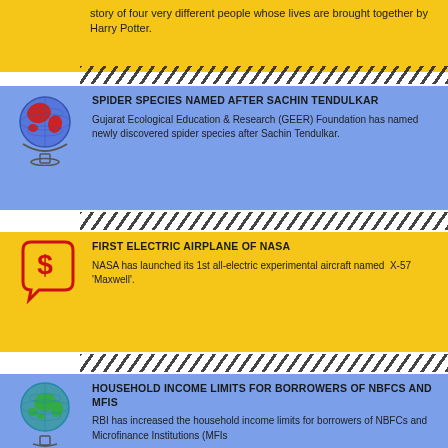story of four very different people whose lives are brought together by Harry Potter.
SPIDER SPECIES NAMED AFTER SACHIN TENDULKAR
Gujarat Ecological Education & Research (GEER) Foundation has named newly discovered spider species after Sachin Tendulkar.
FIRST ELECTRIC AIRPLANE OF NASA
NASA has launched its 1st all-electric experimental aircraft named X-57 'Maxwell'.
HOUSEHOLD INCOME LIMITS FOR BORROWERS OF NBFCS AND MFIS
RBI has increased the household income limits for borrowers of NBFCs and Microfinance Institutions (MFIs).